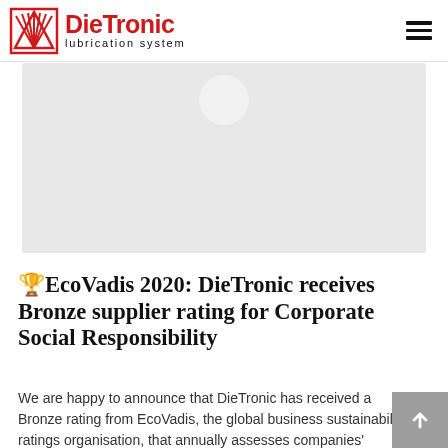DieTronic lubrication system
[Figure (photo): Hero image placeholder with light gray background and circular element at top center]
🏆EcoVadis 2020: DieTronic receives Bronze supplier rating for Corporate Social Responsibility
We are happy to announce that DieTronic has received a Bronze rating from EcoVadis, the global business sustainability ratings organisation, that annually assesses companies' performance on